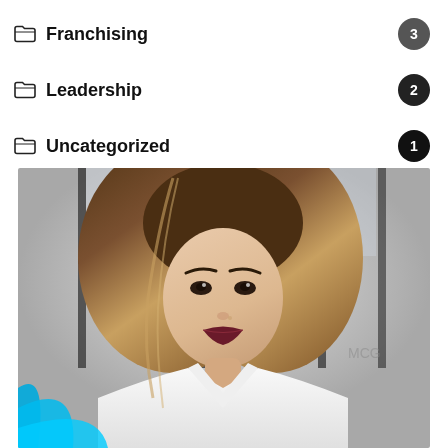Franchising  3
Leadership  2
Uncategorized  1
[Figure (photo): Portrait of a young woman with long brown hair, wearing a white collared shirt, smiling, in an office/studio background. Blue curved swoosh graphic in the bottom-left corner of the image.]